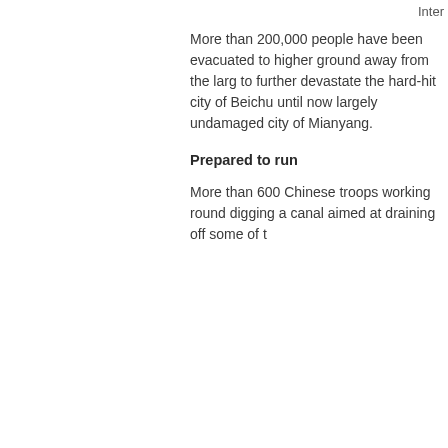Inter
More than 200,000 people have been evacuated to higher ground away from the larg to further devastate the hard-hit city of Beichu until now largely undamaged city of Mianyang.
Prepared to run
More than 600 Chinese troops working round digging a canal aimed at draining off some of t